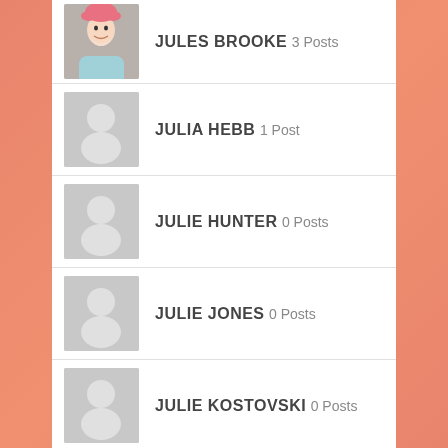JULES BROOKE 3 Posts
JULIA HEBB 1 Post
JULIE HUNTER 0 Posts
JULIE JONES 0 Posts
JULIE KOSTOVSKI 0 Posts
JULIETTE FRANCOIS 0 Posts